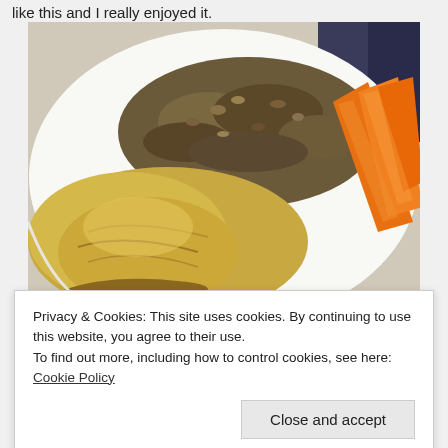like this and I really enjoyed it.
[Figure (photo): A white plate with roasted quinoa in the center-back, sliced orange carrots on the right, and golden-brown cooked chicken or fish fillet on the left-front.]
Privacy & Cookies: This site uses cookies. By continuing to use this website, you agree to their use.
To find out more, including how to control cookies, see here: Cookie Policy
Close and accept